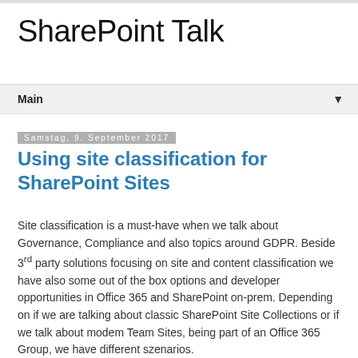SharePoint Talk
Main
Samstag, 9. September 2017
Using site classification for SharePoint Sites
Site classification is a must-have when we talk about Governance, Compliance and also topics around GDPR. Beside 3rd party solutions focusing on site and content classification we have also some out of the box options and developer opportunities in Office 365 and SharePoint on-prem. Depending on if we are talking about classic SharePoint Site Collections or if we talk about modem Team Sites, being part of an Office 365 Group, we have different szenarios.